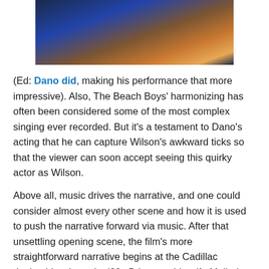[Figure (photo): A cropped photo showing a person's hands and torso, wearing a blue jacket, in a dramatic orangish-blue lighting.]
(Ed: Dano did, making his performance that more impressive). Also, The Beach Boys' harmonizing has often been considered some of the most complex singing ever recorded. But it's a testament to Dano's acting that he can capture Wilson's awkward ticks so that the viewer can soon accept seeing this quirky actor as Wilson.
Above all, music drives the narrative, and one could consider almost every other scene and how it is used to push the narrative forward via music. After that unsettling opening scene, the film's more straightforward narrative begins at the Cadillac dealership where the '80s Brian met his wife Melinda Ledbetter (Elizabeth Banks). The smooth jazz sounds of Kenny G's "Songbird" plays softly